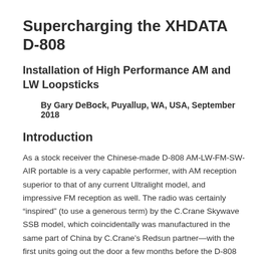Supercharging the XHDATA D-808
Installation of High Performance AM and LW Loopsticks
By Gary DeBock, Puyallup, WA, USA, September 2018
Introduction
As a stock receiver the Chinese-made D-808 AM-LW-FM-SW-AIR portable is a very capable performer, with AM reception superior to that of any current Ultralight model, and impressive FM reception as well. The radio was certainly “inspired” (to use a generous term) by the C.Crane Skywave SSB model, which coincidentally was manufactured in the same part of China by C.Crane’s Redsun partner—with the first units going out the door a few months before the D-808